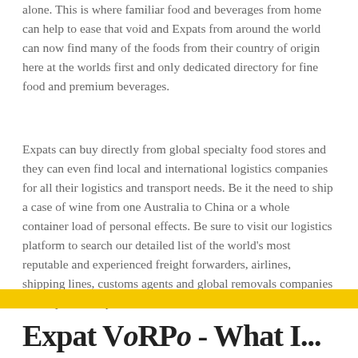alone. This is where familiar food and beverages from home can help to ease that void and Expats from around the world can now find many of the foods from their country of origin here at the worlds first and only dedicated directory for fine food and premium beverages.
Expats can buy directly from global specialty food stores and they can even find local and international logistics companies for all their logistics and transport needs. Be it the need to ship a case of wine from one Australia to China or a whole container load of personal effects. Be sure to visit our logistics platform to search our detailed list of the world's most reputable and experienced freight forwarders, airlines, shipping lines, customs agents and global removals companies for all your transport needs.
Expat VoRPO - What I...